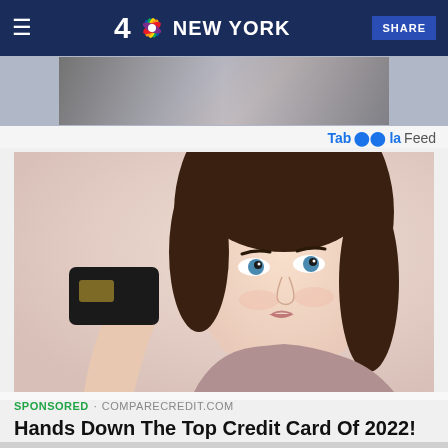4 NBC NEW YORK  SHARE
[Figure (photo): Partial top image strip showing a person, partially cropped, blurred background]
Taboola Feed
[Figure (photo): Woman with brown hair holding a black credit card up near her face, smiling, wearing pink/mauve sweater, against a light pink background]
SPONSORED · COMPARECREDIT.COM
Hands Down The Top Credit Card Of 2022!